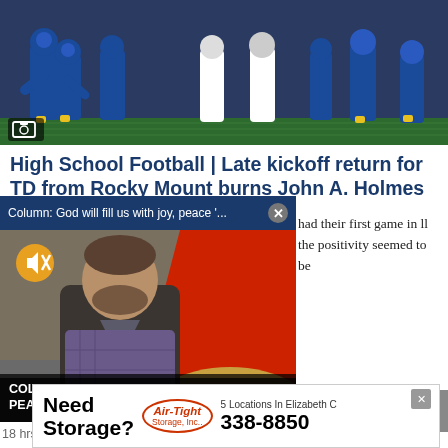[Figure (photo): Football game action photo showing players on a field, blue and yellow uniforms, with a camera icon overlay in bottom-left corner]
High School Football | Late kickoff return for TD from Rocky Mount burns John A. Holmes
[Figure (screenshot): Video popup overlay showing: header 'Column: God will fill us with joy, peace '...' with close button X, video thumbnail of a man in dark jacket with text overlay 'COLUMN: GOD WILL FILL US WITH JOY, PEACE 'AS WE TRUST IN HIM'' and mute button icon, timestamp '18 hrs ago']
had their first game in ll the positivity seemed to be
18 hrs ago
HIGH SCHOOL
[Figure (infographic): Advertisement banner: 'Need Storage? Air-Tight Storage, Inc. 5 Locations In Elizabeth C... 338-8850' with close X button]